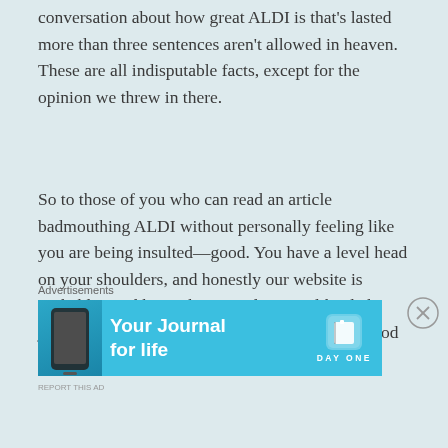conversation about how great ALDI is that's lasted more than three sentences aren't allowed in heaven. These are all indisputable facts, except for the opinion we threw in there.
So to those of you who can read an article badmouthing ALDI without personally feeling like you are being insulted—good. You have a level head on your shoulders, and honestly our website is probably a tad beneath you, unless you like dick jokes and snarkiness, in which case, hey there good looking, wanna grab a drink some time?
Advertisements
[Figure (other): Advertisement banner for Day One app — Your Journal for life, with phone graphic on cyan background]